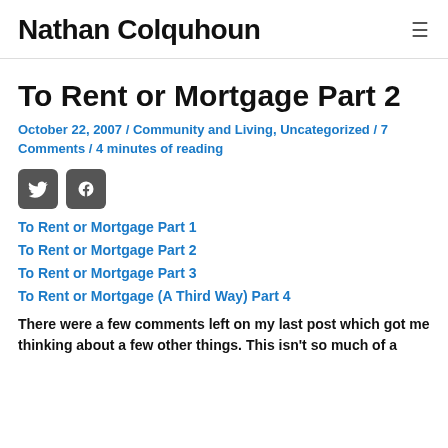Nathan Colquhoun
To Rent or Mortgage Part 2
October 22, 2007 / Community and Living, Uncategorized / 7 Comments / 4 minutes of reading
[Figure (other): Twitter and Facebook social share icon buttons]
To Rent or Mortgage Part 1
To Rent or Mortgage Part 2
To Rent or Mortgage Part 3
To Rent or Mortgage (A Third Way) Part 4
There were a few comments left on my last post which got me thinking about a few other things. This isn't so much of a